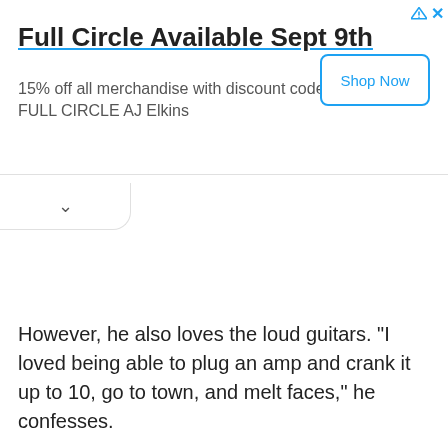[Figure (other): Advertisement banner: 'Full Circle Available Sept 9th' with subtitle '15% off all merchandise with discount code FULL CIRCLE AJ Elkins' and a 'Shop Now' button. Includes ad icon and close (X) button in top right.]
However, he also loves the loud guitars. “I loved being able to plug an amp and crank it up to 10, go to town, and melt faces,” he confesses.